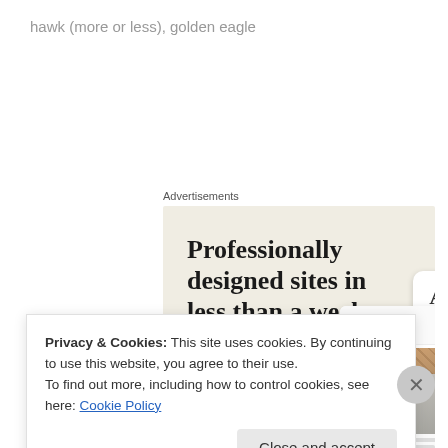hawk (more or less), golden eagle
Advertisements
[Figure (illustration): Advertisement banner with beige background showing text 'Professionally designed sites in less than a week' with a green 'Explore options' button and website mockup screenshots on the right side.]
Privacy & Cookies: This site uses cookies. By continuing to use this website, you agree to their use.
To find out more, including how to control cookies, see here: Cookie Policy